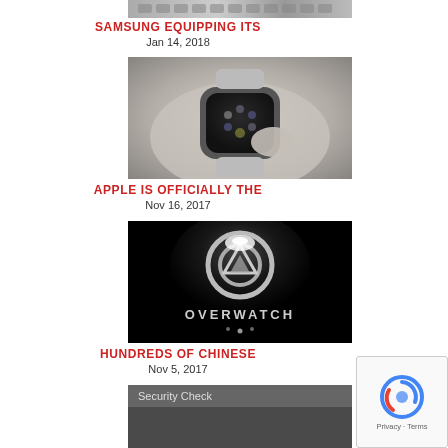[Figure (photo): Partial view of a laptop keyboard, cropped at top of page]
SAMSUNG EQUIPPING ITS
Jan 14, 2018
[Figure (photo): Black and white photo of a person wearing an Apple Watch, tapping its screen]
APPLE IS OFFICIALLY THE
Nov 16, 2017
[Figure (photo): Dark image showing the Overwatch game logo with glowing metallic text]
HUNDREDS OF CHINESE
Nov 5, 2017
[Figure (screenshot): Security Check widget, partially visible at bottom]